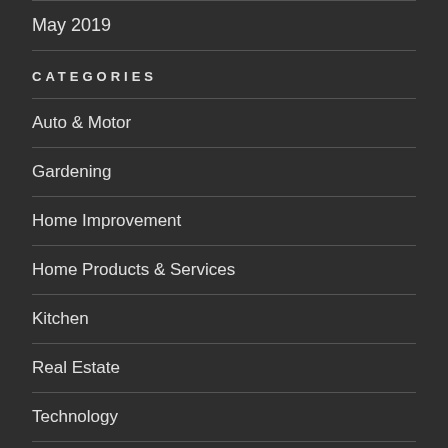May 2019
CATEGORIES
Auto & Motor
Gardening
Home Improvement
Home Products & Services
Kitchen
Real Estate
Technology
Uncategorized